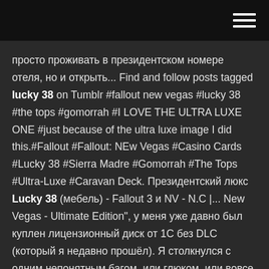[hamburger menu icon]
просто проживать в президентском номере отеля, но и открыть... Find and follow posts tagged lucky 38 on Tumblr #fallout new vegas #lucky 38 #the tops #gomorrah #I LOVE THE ULTRA LUXE ONE #just because of the ultra luxe image I did this.#Fallout #Fallout: NEw Vegas #Casino Cards #Lucky 38 #Sierra Madre #Gomorrah #The Tops #Ultra-Luxe #Caravan Deck. Президентский люкс Lucky 38 (мебель) - Fallout 3 и NV - N.C |... New Vegas - Ultimate Edition", у меня уже давно был куплен лицензионный диск от 1С без DLC (который я недавно прошёл). Я столкнулся с одним непонятным багом, или глюком, или вовсе недоработкой. lucky 38 Casino, New Vegas - Dundee - Local Business |...